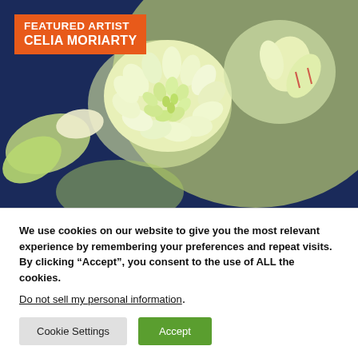[Figure (photo): Close-up painting of white/green chrysanthemum flowers with blue background, by Celia Moriarty. Orange banner overlay reads FEATURED ARTIST CELIA MORIARTY.]
Celia Moriarty is a self-taught artist who engages art to explore positive social change.  Her work is focused on beauty, and using paintings to create positive conversations or actions. From showing the beauty of
We use cookies on our website to give you the most relevant experience by remembering your preferences and repeat visits. By clicking “Accept”, you consent to the use of ALL the cookies.
Do not sell my personal information.